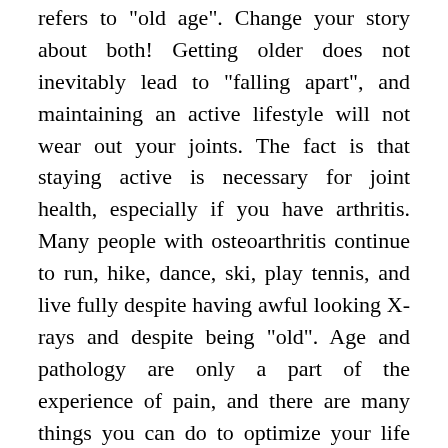refers to "old age". Change your story about both! Getting older does not inevitably lead to "falling apart", and maintaining an active lifestyle will not wear out your joints. The fact is that staying active is necessary for joint health, especially if you have arthritis. Many people with osteoarthritis continue to run, hike, dance, ski, play tennis, and live fully despite having awful looking X-rays and despite being "old". Age and pathology are only a part of the experience of pain, and there are many things you can do to optimize your life and diminish pain. Replace "wear and tear" with "motion is lotion".
Nourish yourself with plenty of clean water, deep breaths, good food, fun people, books